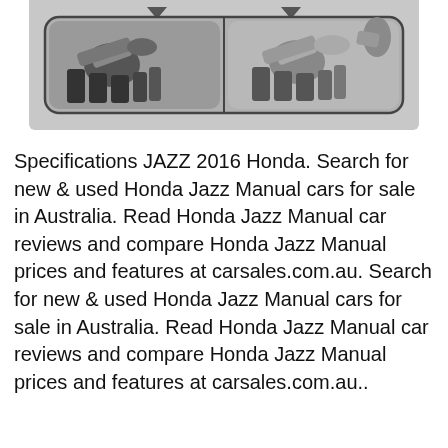[Figure (illustration): Grayscale technical illustration showing two side-by-side close-up views of a car component (likely a seat mechanism or hinge), displayed inside a rounded rectangle frame on a light gray background, with two small tab arrows pointing downward at the top.]
Specifications JAZZ 2016 Honda. Search for new & used Honda Jazz Manual cars for sale in Australia. Read Honda Jazz Manual car reviews and compare Honda Jazz Manual prices and features at carsales.com.au. Search for new & used Honda Jazz Manual cars for sale in Australia. Read Honda Jazz Manual car reviews and compare Honda Jazz Manual prices and features at carsales.com.au..